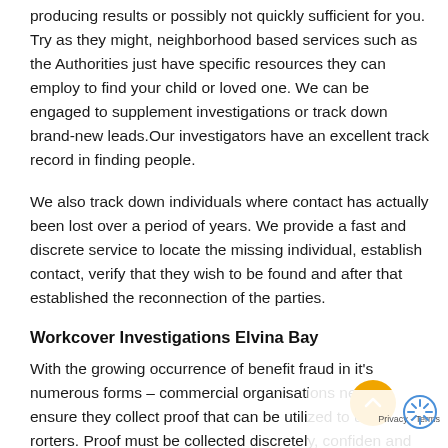producing results or possibly not quickly sufficient for you. Try as they might, neighborhood based services such as the Authorities just have specific resources they can employ to find your child or loved one. We can be engaged to supplement investigations or track down brand-new leads.Our investigators have an excellent track record in finding people.
We also track down individuals where contact has actually been lost over a period of years. We provide a fast and discrete service to locate the missing individual, establish contact, verify that they wish to be found and after that established the reconnection of the parties.
Workcover Investigations Elvina Bay
With the growing occurrence of benefit fraud in it's numerous forms – commercial organisations need to ensure they collect proof that can be utilized to unc rorters. Proof must be collected discretely, confiden and within the law.The evidence requires to be provided in